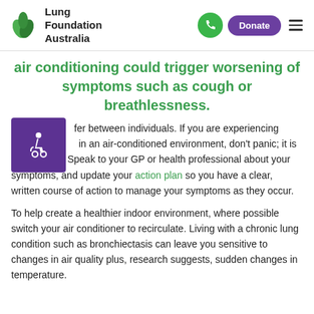Lung Foundation Australia
air conditioning could trigger worsening of symptoms such as cough or breathlessness.
Triggers differ between individuals. If you are experiencing difficulties in an air-conditioned environment, don't panic; it is not unusual. Speak to your GP or health professional about your symptoms, and update your action plan so you have a clear, written course of action to manage your symptoms as they occur.
To help create a healthier indoor environment, where possible switch your air conditioner to recirculate. Living with a chronic lung condition such as bronchiectasis can leave you sensitive to changes in air quality plus, research suggests, sudden changes in temperature.